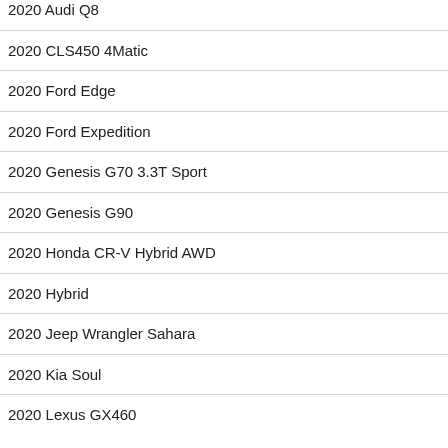2020 Audi Q8
2020 CLS450 4Matic
2020 Ford Edge
2020 Ford Expedition
2020 Genesis G70 3.3T Sport
2020 Genesis G90
2020 Honda CR-V Hybrid AWD
2020 Hybrid
2020 Jeep Wrangler Sahara
2020 Kia Soul
2020 Lexus GX460